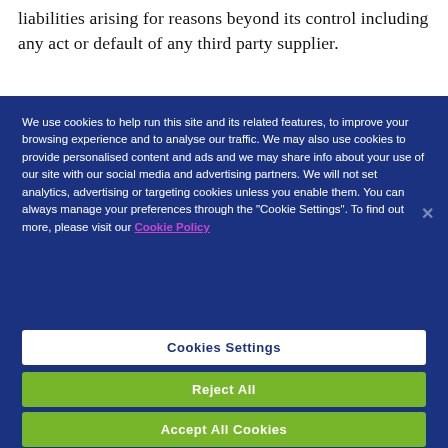liabilities arising for reasons beyond its control including any act or default of any third party supplier.
We use cookies to help run this site and its related features, to improve your browsing experience and to analyse our traffic. We may also use cookies to provide personalised content and ads and we may share info about your use of our site with our social media and advertising partners. We will not set analytics, advertising or targeting cookies unless you enable them. You can always manage your preferences through the "Cookie Settings". To find out more, please visit our Cookie Policy
Cookies Settings
Reject All
Accept All Cookies